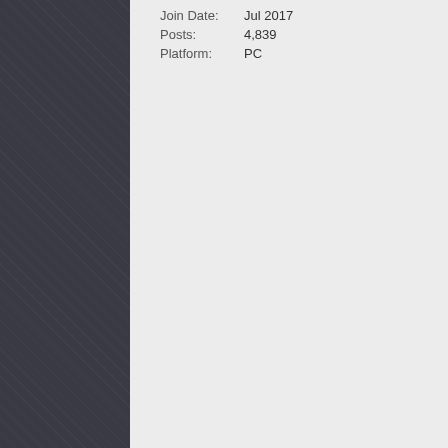| Join Date: | Jul 2017 |
| Posts: | 4,839 |
| Platform: | PC |
cars, but with deflated career m... PCARS 3). AI was very bad but... events and time trial, totaled mo... sim racing, but got Grid 2019 fo... (including rain) and great sound... tracks, no dedicated time trial m... community events, very buggy r... great potential but rushed very v... Also all Grid games favor playin... slower using a wheel.
Last edited by cpcdem; 22-07-2021 a
The following user likes th
22-07-2021, 22:14
cluck
WMD Member
Loved the first GRID game. Not... if I even own any of them!). I'm... suit how I've played racing gam... if it handles well on a wheel the... out next year 🙂